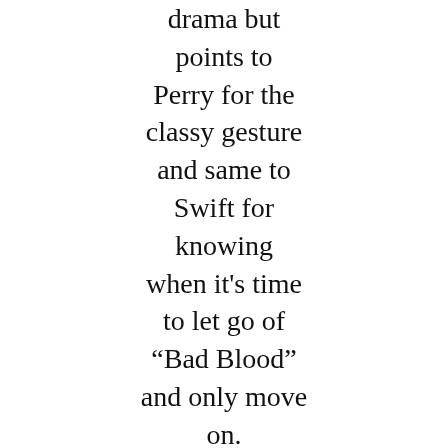drama but points to Perry for the classy gesture and same to Swift for knowing when it's time to let go of "Bad Blood" and only move on.
Advertisement